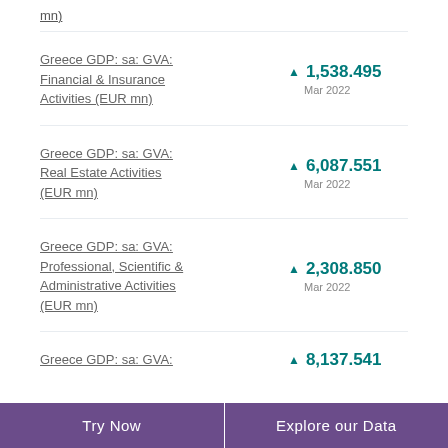mn)
Greece GDP: sa: GVA: Financial & Insurance Activities (EUR mn)
▲ 1,538.495
Mar 2022
Greece GDP: sa: GVA: Real Estate Activities (EUR mn)
▲ 6,087.551
Mar 2022
Greece GDP: sa: GVA: Professional, Scientific & Administrative Activities (EUR mn)
▲ 2,308.850
Mar 2022
Greece GDP: sa: GVA:
▲ 8,137.541
Try Now   Explore our Data